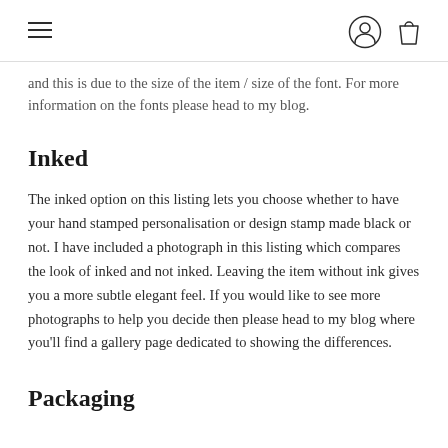Navigation header with hamburger menu, user icon, and bag icon
and this is due to the size of the item / size of the font. For more information on the fonts please head to my blog.
Inked
The inked option on this listing lets you choose whether to have your hand stamped personalisation or design stamp made black or not. I have included a photograph in this listing which compares the look of inked and not inked. Leaving the item without ink gives you a more subtle elegant feel. If you would like to see more photographs to help you decide then please head to my blog where you'll find a gallery page dedicated to showing the differences.
Packaging